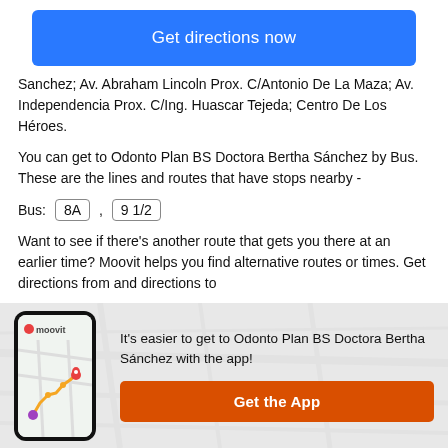[Figure (other): Blue 'Get directions now' button]
Sanchez; Av. Abraham Lincoln Prox. C/Antonio De La Maza; Av. Independencia Prox. C/Ing. Huascar Tejeda; Centro De Los Héroes.
You can get to Odonto Plan BS Doctora Bertha Sánchez by Bus. These are the lines and routes that have stops nearby -
Bus: 8A , 9 1/2
Want to see if there's another route that gets you there at an earlier time? Moovit helps you find alternative routes or times. Get directions from and directions to
[Figure (screenshot): Moovit app phone mockup with map and route illustration]
It's easier to get to Odonto Plan BS Doctora Bertha Sánchez with the app!
[Figure (other): Orange 'Get the App' button]